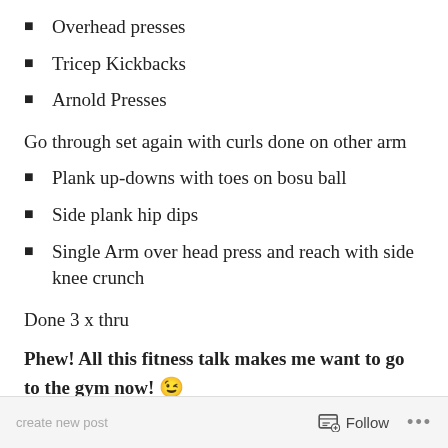Overhead presses
Tricep Kickbacks
Arnold Presses
Go through set again with curls done on other arm
Plank up-downs with toes on bosu ball
Side plank hip dips
Single Arm over head press and reach with side knee crunch
Done 3 x thru
Phew! All this fitness talk makes me want to go to the gym now! 😉
Follow ...